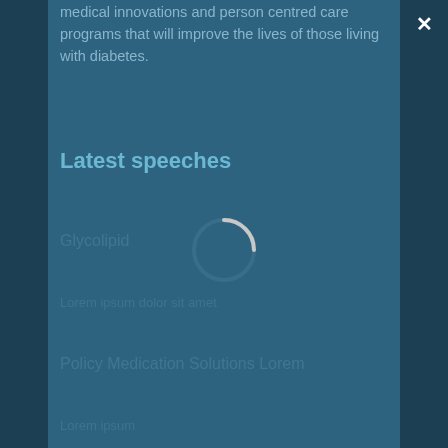medical innovations and person centred care programs that will improve the lives of those living with diabetes.
Latest speeches
[Figure (other): Loading spinner — a circular ring indicator (partially rendered arc) showing content is loading, displayed over a muted blue-grey background]
Glycolipid
Lorem ipsum dolor sit amet
Policy Medication Solutions Lorem
Lorem ipsum